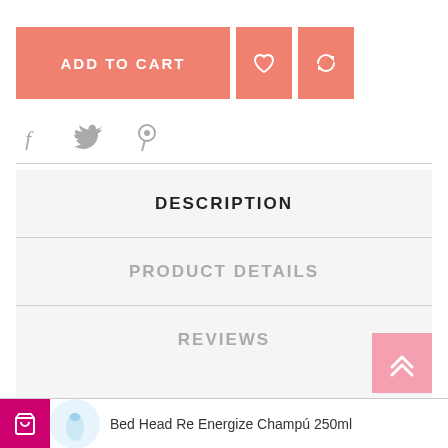[Figure (other): Add to Cart button (salmon/coral color) with heart icon button and refresh/compare icon button]
[Figure (other): Social share icons: Facebook, Twitter, Pinterest]
DESCRIPTION
PRODUCT DETAILS
REVIEWS
[Figure (other): Scroll to top button with double chevron up arrow, pink background]
Bed Head Re Energize Champú 250ml